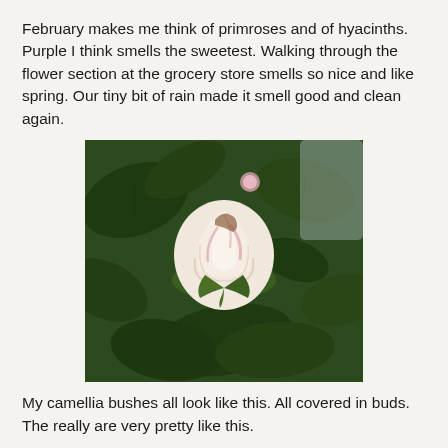February makes me think of primroses and of hyacinths. Purple I think smells the sweetest. Walking through the flower section at the grocery store smells so nice and like spring. Our tiny bit of rain made it smell good and clean again.
[Figure (photo): Close-up photograph of a pink and white camellia bud surrounded by dark green leaves.]
My camellia bushes all look like this. All covered in buds. The really are very pretty like this.
This is what is going on in front of my house.